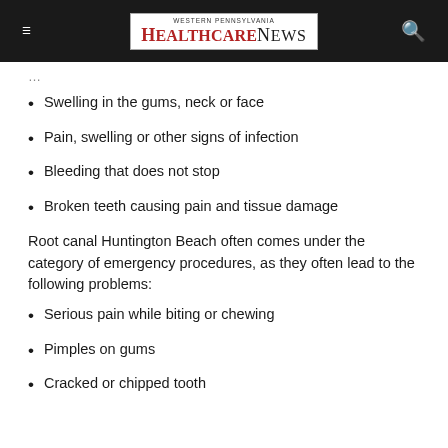Western Pennsylvania Healthcare News
Swelling in the gums, neck or face
Pain, swelling or other signs of infection
Bleeding that does not stop
Broken teeth causing pain and tissue damage
Root canal Huntington Beach often comes under the category of emergency procedures, as they often lead to the following problems:
Serious pain while biting or chewing
Pimples on gums
Cracked or chipped tooth